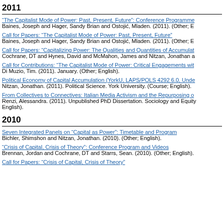2011
"The Capitalist Mode of Power: Past, Present, Future": Conference Programme
Baines, Joseph and Hager, Sandy Brian and Ostojić, Mladen. (2011). (Other; E
Call for Papers: "The Capitalist Mode of Power: Past, Present, Future"
Baines, Joseph and Hager, Sandy Brian and Ostojić, Mladen. (2011). (Other; E
Call for Papers: "Capitalizing Power: The Qualities and Quantities of Accumulat
Cochrane, DT and Hynes, David and McMahon, James and Nitzan, Jonathan a
Call for Contributions: "The Capitalist Mode of Power: Critical Engagements wit
Di Muzio, Tim. (2011). January. (Other; English).
Political Economy of Capital Accumulation (YorkU, LAPS/POLS 4292 6.0, Unde
Nitzan, Jonathan. (2011). Political Science. York University. (Course; English).
From Collectives to Connectives: Italian Media Activism and the Repurposing o
Renzi, Alessandra. (2011). Unpublished PhD Dissertation. Sociology and Equity
English).
2010
Seven Integrated Panels on "Capital as Power": Timetable and Program
Bichler, Shimshon and Nitzan, Jonathan. (2010). (Other; English).
"Crisis of Capital, Crisis of Theory": Conference Program and Videos
Brennan, Jordan and Cochrane, DT and Starrs, Sean. (2010). (Other; English).
Call for Papers: "Crisis of Capital, Crisis of Theory"